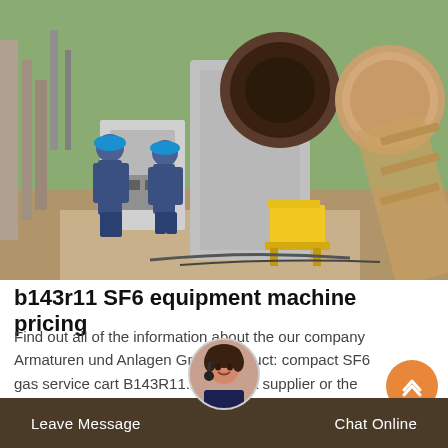[Figure (photo): Industrial SF6 gas service equipment at an outdoor site. Workers in blue uniforms visible on left. Large grey machinery with circular openings in center. Yellow step stool visible. Wooden scaffolding on right side.]
b143r11 SF6 equipment machine pricing
Find out all of the information about the our company Armaturen und Anlagen GmbH product: compact SF6 gas service cart B143R11. Contact a supplier or the parent company directly to get a quote or to find out a price or the closest point of sale.
Leave Message   Chat Online